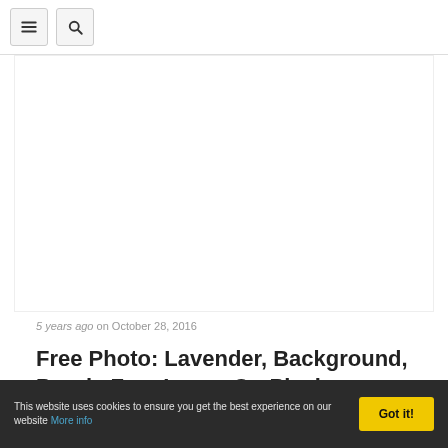[hamburger menu icon] [search icon]
[Figure (photo): Large white/blank image area representing a photo placeholder]
5 years ago on October 28, 2016
Free Photo: Lavender, Background, Purple Free Image On Pixabay ...
This website uses cookies to ensure you get the best experience on our website More info  Got it!